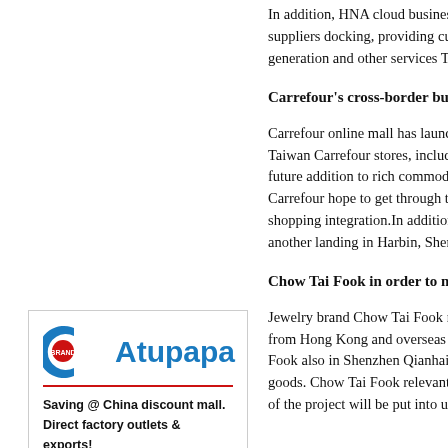In addition, HNA cloud business suppliers docking, providing customers generation and other services Th
Carrefour's cross-border busin
Carrefour online mall has launched Taiwan Carrefour stores, including future addition to rich commodit Carrefour hope to get through th shopping integration.In addition another landing in Harbin, Sheny
Chow Tai Fook in order to mak
Jewelry brand Chow Tai Fook re from Hong Kong and overseas s Fook also in Shenzhen Qianhai goods. Chow Tai Fook relevant p of the project will be put into use
[Figure (logo): Atupapa brand logo with blue C icon and red BRAND badge, text 'Atupapa' in blue, taglines: 'Saving @ China discount mall.' and 'Direct factory outlets & exports!']